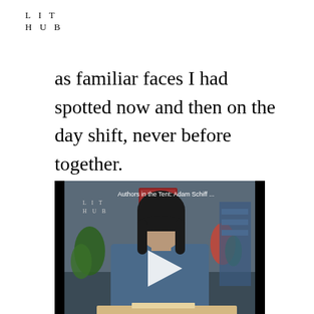LIT HUB
as familiar faces I had spotted now and then on the day shift, never before together.
[Figure (screenshot): Video thumbnail showing a woman with dark bangs sitting at a table with a book, with a play button overlay. Title reads 'Authors in the Tent: Adam Schiff ...' with Lit Hub logo in upper left.]